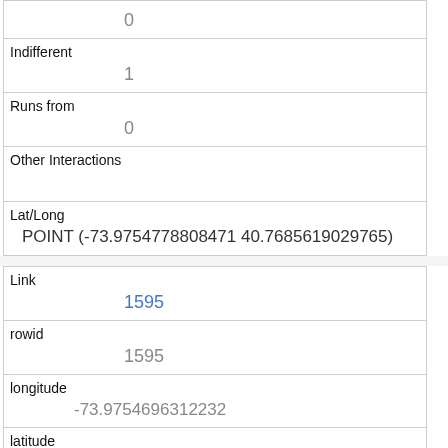| (partial top row value) | 0 |
| Indifferent | 1 |
| Runs from | 0 |
| Other Interactions |  |
| Lat/Long | POINT (-73.9754778808471 40.7685619029765) |
| Link | 1595 |
| rowid | 1595 |
| longitude | -73.9754696312232 |
| latitude | 40.768191647091996 |
| Unique Squirrel ID | 4E-AM-1020-02 |
| Hectare |  |